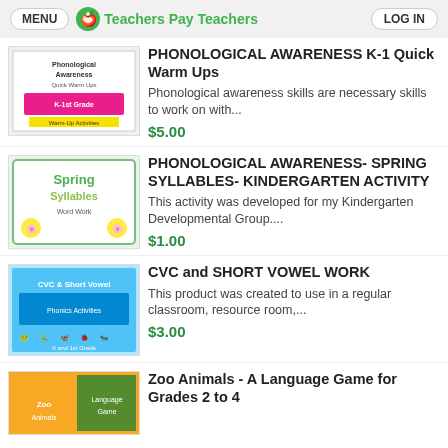MENU  Teachers Pay Teachers  LOG IN
PHONOLOGICAL AWARENESS K-1 Quick Warm Ups
Phonological awareness skills are necessary skills to work on with...
$5.00
PHONOLOGICAL AWARENESS- SPRING SYLLABLES- KINDERGARTEN ACTIVITY
This activity was developed for my Kindergarten Developmental Group....
$1.00
CVC and SHORT VOWEL WORK
This product was created to use in a regular classroom, resource room,...
$3.00
Zoo Animals - A Language Game for Grades 2 to 4